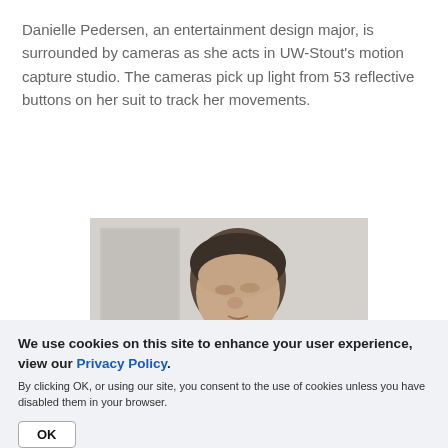Danielle Pedersen, an entertainment design major, is surrounded by cameras as she acts in UW-Stout's motion capture studio. The cameras pick up light from 53 reflective buttons on her suit to track her movements.
[Figure (photo): A middle-aged man photographed from the shoulders up, looking slightly to the right, in what appears to be a studio or classroom setting with artwork visible in the background.]
We use cookies on this site to enhance your user experience, view our Privacy Policy.
By clicking OK, or using our site, you consent to the use of cookies unless you have disabled them in your browser.